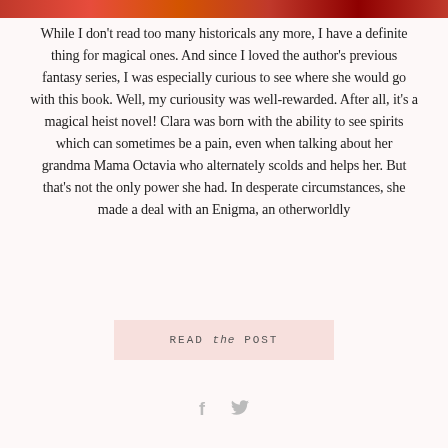[Figure (photo): Partial top strip of a book cover image, cropped at top of page, reddish tones]
While I don't read too many historicals any more, I have a definite thing for magical ones. And since I loved the author's previous fantasy series, I was especially curious to see where she would go with this book. Well, my curiousity was well-rewarded. After all, it's a magical heist novel! Clara was born with the ability to see spirits which can sometimes be a pain, even when talking about her grandma Mama Octavia who alternately scolds and helps her. But that's not the only power she had. In desperate circumstances, she made a deal with an Enigma, an otherworldly
READ the POST
[Figure (other): Social share icons: Facebook f and Twitter bird]